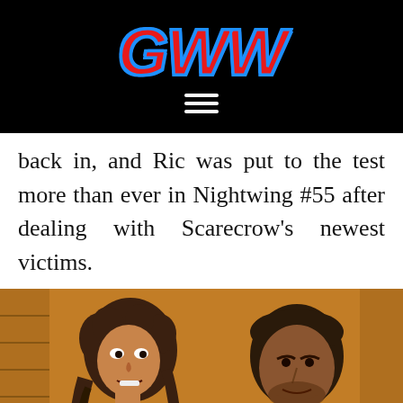[Figure (logo): GWW logo in red italic bold letters with blue outline on black background, with hamburger menu icon below]
back in, and Ric was put to the test more than ever in Nightwing #55 after dealing with Scarecrow's newest victims.
[Figure (illustration): Comic book art showing two characters: a woman with curly hair on the left and a man in a dark jacket on the right, rendered in orange/amber tones]